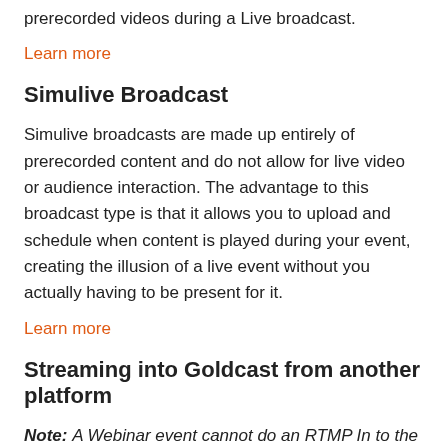prerecorded videos during a Live broadcast.
Learn more
Simulive Broadcast
Simulive broadcasts are made up entirely of prerecorded content and do not allow for live video or audience interaction. The advantage to this broadcast type is that it allows you to upload and schedule when content is played during your event, creating the illusion of a live event without you actually having to be present for it.
Learn more
Streaming into Goldcast from another platform
Note: A Webinar event cannot do an RTMP In to the event. Only Virtual events and Hybrid events have this capability.
RTMP streaming should be used if your event is being